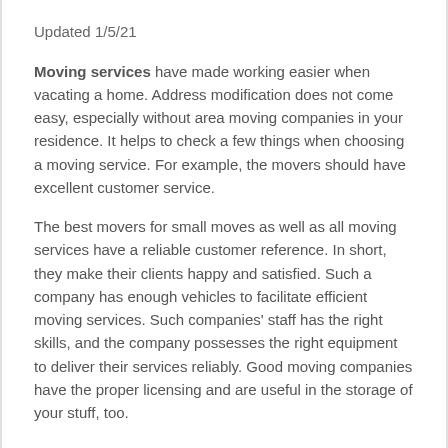Updated 1/5/21
Moving services have made working easier when vacating a home. Address modification does not come easy, especially without area moving companies in your residence. It helps to check a few things when choosing a moving service. For example, the movers should have excellent customer service.
The best movers for small moves as well as all moving services have a reliable customer reference. In short, they make their clients happy and satisfied. Such a company has enough vehicles to facilitate efficient moving services. Such companies’ staff has the right skills, and the company possesses the right equipment to deliver their services reliably. Good moving companies have the proper licensing and are useful in the storage of your stuff, too.